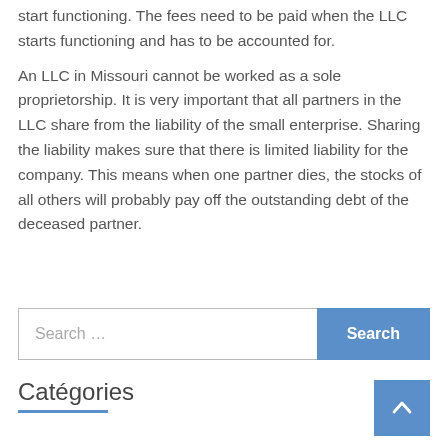start functioning. The fees need to be paid when the LLC starts functioning and has to be accounted for.
An LLC in Missouri cannot be worked as a sole proprietorship. It is very important that all partners in the LLC share from the liability of the small enterprise. Sharing the liability makes sure that there is limited liability for the company. This means when one partner dies, the stocks of all others will probably pay off the outstanding debt of the deceased partner.
[Figure (other): Search bar with text 'Search ...' and a blue search button labeled 'Search']
Catégories